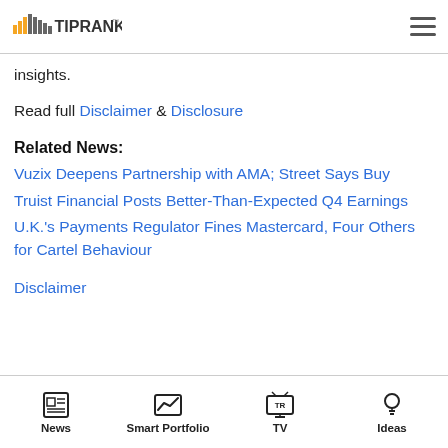TipRanks
insights.
Read full Disclaimer & Disclosure
Related News:
Vuzix Deepens Partnership with AMA; Street Says Buy
Truist Financial Posts Better-Than-Expected Q4 Earnings
U.K.'s Payments Regulator Fines Mastercard, Four Others for Cartel Behaviour
Disclaimer
News  Smart Portfolio  TV  Ideas